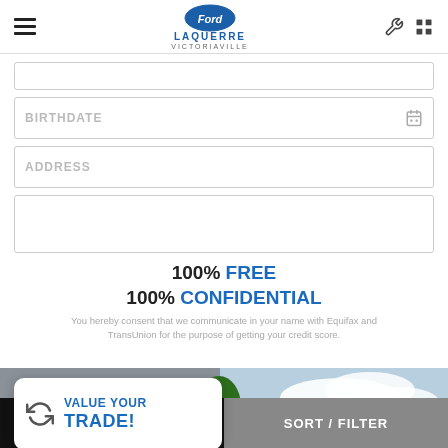Ford Laquerre Victoriaville
BIRTHDATE
ADDRESS
100% FREE 100% CONFIDENTIAL
You hereby consent that we communicate in your name with Equifax and TransUnion for the purpose of getting your credit score.
[Figure (screenshot): Building exterior with blue sky background used as banner for trade-in section]
VALUE YOUR TRADE!
37 RESULTS    SORT / FILTER